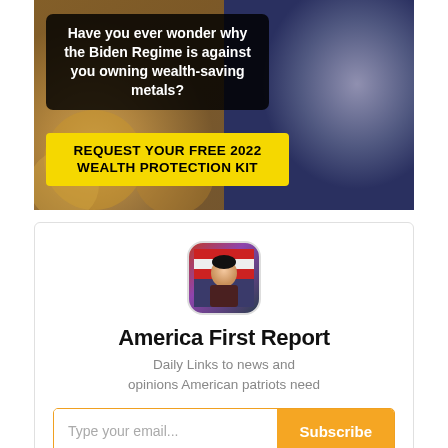[Figure (photo): Advertisement banner showing a political figure pointing, with gold coins in the background. Overlay text reads: 'Have you ever wonder why the Biden Regime is against you owning wealth-saving metals?' with a yellow call-to-action button: 'REQUEST YOUR FREE 2022 WEALTH PROTECTION KIT']
[Figure (photo): Rounded square avatar thumbnail showing a person in front of an American flag background]
America First Report
Daily Links to news and opinions American patriots need
Type your email...   Subscribe